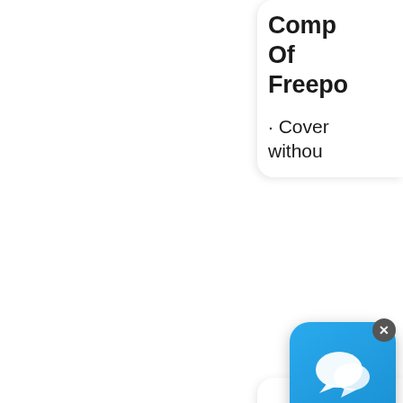Comp Of Freepo
· Cover withou
[Figure (photo): Product image showing stacked red flat items (possibly hoses or gaskets)]
[Figure (screenshot): Chat/messaging app icon button (blue rounded square with white speech bubbles) with a close X button]
China Stainle Braide Pluing Hose, Stainle Braide